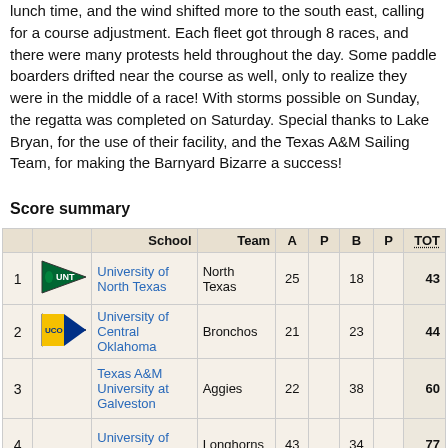lunch time, and the wind shifted more to the south east, calling for a course adjustment. Each fleet got through 8 races, and there were many protests held throughout the day. Some paddle boarders drifted near the course as well, only to realize they were in the middle of a race! With storms possible on Sunday, the regatta was completed on Saturday. Special thanks to Lake Bryan, for the use of their facility, and the Texas A&M Sailing Team, for making the Barnyard Bizarre a success!
Score summary
|  |  | School | Team | A | P | B | P | TOT |
| --- | --- | --- | --- | --- | --- | --- | --- | --- |
| 1 | [UNT logo] | University of North Texas | North Texas | 25 |  | 18 |  | 43 |
| 2 | [UCO logo] | University of Central Oklahoma | Bronchos | 21 |  | 23 |  | 44 |
| 3 |  | Texas A&M University at Galveston | Aggies | 22 |  | 38 |  | 60 |
| 4 |  | University of Texas | Longhorns | 43 |  | 34 |  | 77 |